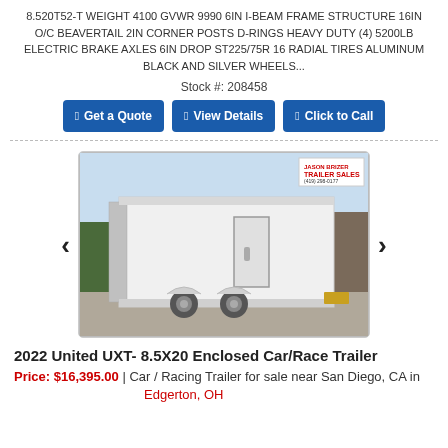8.520T52-T WEIGHT 4100 GVWR 9990 6IN I-BEAM FRAME STRUCTURE 16IN O/C BEAVERTAIL 2IN CORNER POSTS D-RINGS HEAVY DUTY (4) 5200LB ELECTRIC BRAKE AXLES 6IN DROP ST225/75R 16 RADIAL TIRES ALUMINUM BLACK AND SILVER WHEELS...
Stock #: 208458
Get a Quote | View Details | Click to Call
[Figure (photo): Photo of a white enclosed car/race trailer parked in a lot, showing the side and rear doors. A dealer logo for Jason Brizer Trailer Sales is visible in the upper right corner of the image.]
2022 United UXT- 8.5X20 Enclosed Car/Race Trailer
Price: $16,395.00 | Car / Racing Trailer for sale near San Diego, CA in Edgerton, OH